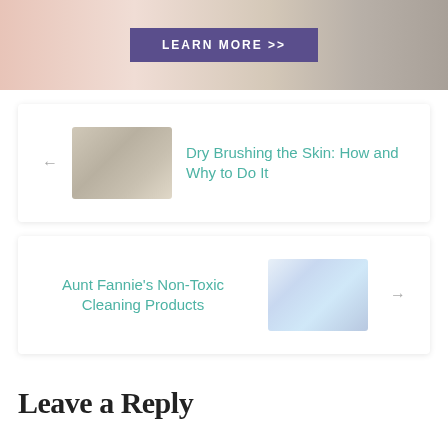[Figure (photo): Banner image with pink/beige/gray textured background and a purple 'LEARN MORE >>' button in the center]
[Figure (photo): Navigation card linking to 'Dry Brushing the Skin: How and Why to Do It' with thumbnail of brushes and spa items]
[Figure (photo): Navigation card linking to 'Aunt Fannie's Non-Toxic Cleaning Products' with thumbnail of cleaning spray bottles]
Leave a Reply